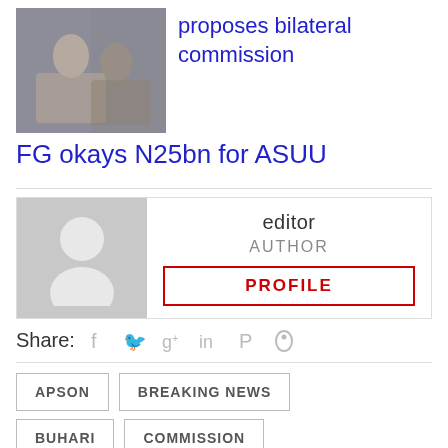[Figure (photo): Thumbnail photo of people seated at a meeting]
proposes bilateral commission
FG okays N25bn for ASUU
[Figure (photo): Default user avatar placeholder image (gray silhouette)]
editor
AUTHOR
PROFILE
Share:
APSON
BREAKING NEWS
BUHARI
COMMISSION
EDUCATION
GOVERNMENT